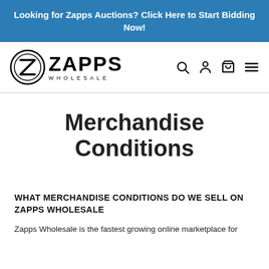Looking for Zapps Auctions? Click Here to Start Bidding Now!
[Figure (logo): Zapps Wholesale logo with circular Z emblem and ZAPPS WHOLESALE text]
Merchandise Conditions
WHAT MERCHANDISE CONDITIONS DO WE SELL ON ZAPPS WHOLESALE
Zapps Wholesale is the fastest growing online marketplace for